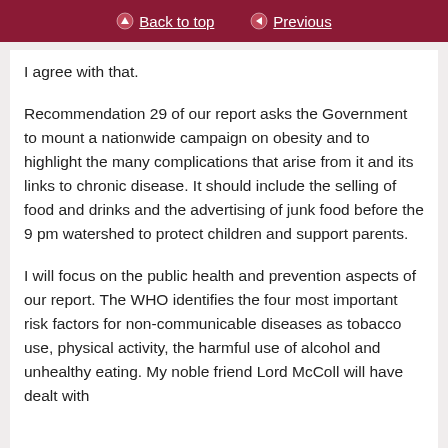Back to top | Previous
I agree with that.
Recommendation 29 of our report asks the Government to mount a nationwide campaign on obesity and to highlight the many complications that arise from it and its links to chronic disease. It should include the selling of food and drinks and the advertising of junk food before the 9 pm watershed to protect children and support parents.
I will focus on the public health and prevention aspects of our report. The WHO identifies the four most important risk factors for non-communicable diseases as tobacco use, physical activity, the harmful use of alcohol and unhealthy eating. My noble friend Lord McColl will have dealt with